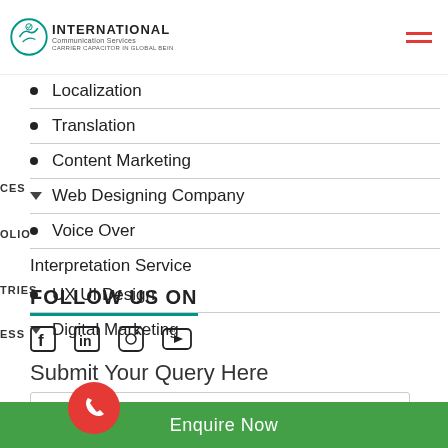[Figure (logo): International Communication Services logo with circular checkmark icon, company name and tagline]
Localization
Translation
Content Marketing
Web Designing Company
Voice Over
Interpretation Service
UX UI Design
Digital Marketing
FOLLOW US ON
[Figure (illustration): Social media icons: Facebook, LinkedIn, Instagram, YouTube]
Submit Your Query Here
Name (input field)
Enquire Now